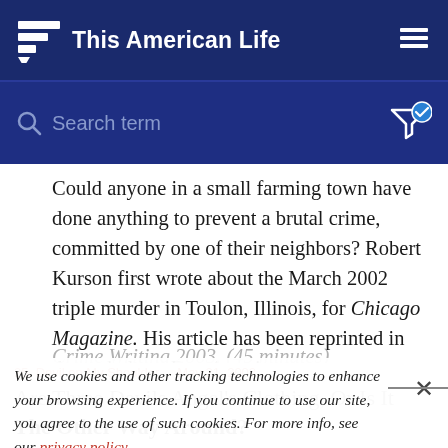This American Life
[Figure (screenshot): Search bar with placeholder text 'Search term' and filter icon with checkmark]
Could anyone in a small farming town have done anything to prevent a brutal crime, committed by one of their neighbors? Robert Kurson first wrote about the March 2002 triple murder in Toulon, Illinois, for Chicago Magazine. His article has been reprinted in the anthology Best American Crime Writing 2003. (45 minutes)
We use cookies and other tracking technologies to enhance your browsing experience. If you continue to use our site, you agree to the use of such cookies. For more info, see our privacy policy.
25. Devil on My Shoulder   May 21, 2002
Are Three Devils Angel's Clothing, Or Is It The Other Way Around?